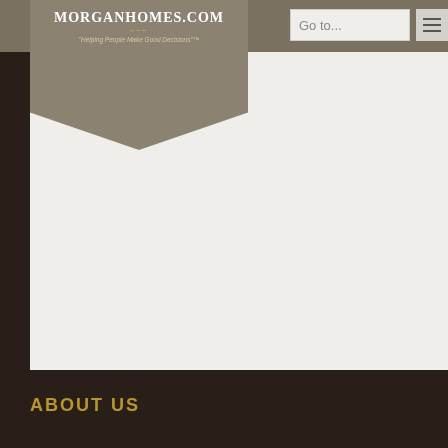MorganHomes.com — Go to...
[Figure (logo): MorganHomes.com logo with tagline 'Helping People Make Good Decisions' on a khaki/olive pentagon-shaped background]
in... and commercial properties.
THE BACKSTORY: On June 6th, 1978, nearly two-thirds of California's voters passed Proposition
ABOUT US